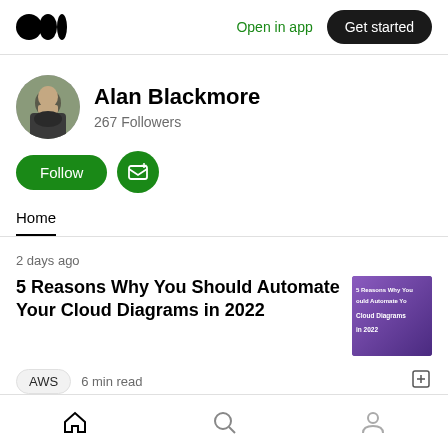Open in app | Get started
[Figure (photo): Circular profile photo of Alan Blackmore, a bearded man outdoors]
Alan Blackmore
267 Followers
Follow
Home
2 days ago
5 Reasons Why You Should Automate Your Cloud Diagrams in 2022
[Figure (screenshot): Thumbnail image for article: 5 Reasons Why You Should Automate Your Cloud Diagrams in 2022, purple background with text]
AWS  6 min read
Home | Search | Profile